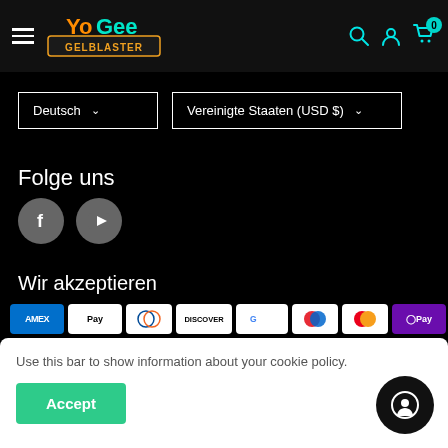YoGee Gelblaster - navigation header
Deutsch
Vereinigte Staaten (USD $)
Folge uns
[Figure (logo): Facebook and YouTube social media icons in grey circles]
Wir akzeptieren
[Figure (infographic): Payment method icons: AMEX, Apple Pay, Diners Club, Discover, Google Pay, Maestro, Mastercard, OPay, Visa]
Use this bar to show information about your cookie policy.
Accept